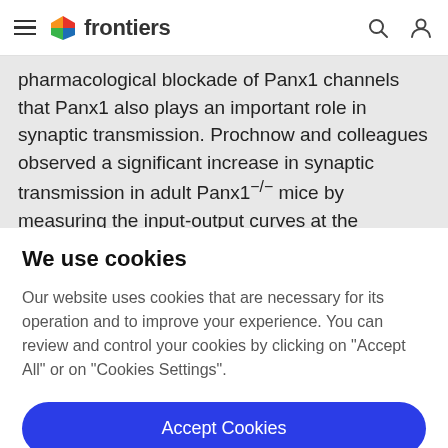frontiers (navigation bar with hamburger menu, logo, search and profile icons)
pharmacological blockade of Panx1 channels that Panx1 also plays an important role in synaptic transmission. Prochnow and colleagues observed a significant increase in synaptic transmission in adult Panx1−/− mice by measuring the input-output curves at the hippocampal
We use cookies
Our website uses cookies that are necessary for its operation and to improve your experience. You can review and control your cookies by clicking on "Accept All" or on "Cookies Settings".
Accept Cookies
Cookies Settings